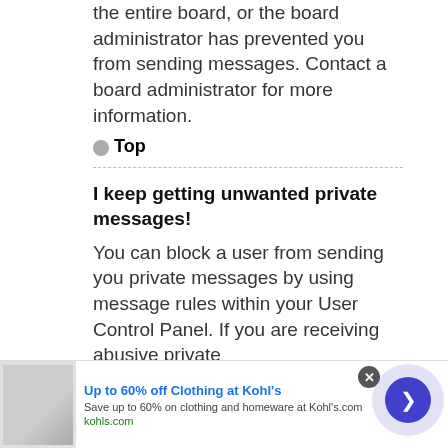the entire board, or the board administrator has prevented you from sending messages. Contact a board administrator for more information.
Top
I keep getting unwanted private messages!
You can block a user from sending you private messages by using message rules within your User Control Panel. If you are receiving abusive private
[Figure (infographic): Advertisement banner: Up to 60% off Clothing at Kohl's. Save up to 60% on clothing and homeware at Kohl's.com. kohls.com. Shows image of people, close button, and arrow button.]